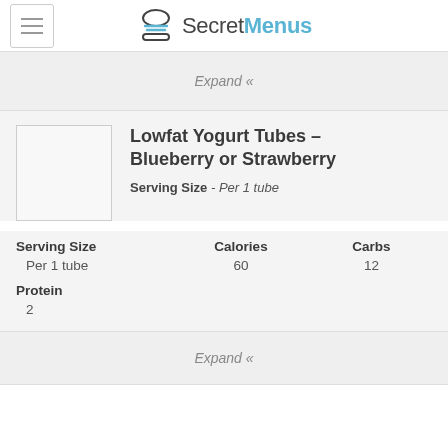SecretMenus
Expand «
Lowfat Yogurt Tubes – Blueberry or Strawberry
Serving Size - Per 1 tube
| Serving Size | Calories | Carbs |
| --- | --- | --- |
| Per 1 tube | 60 | 12 |
| Protein |  |  |
| 2 |  |  |
Expand «